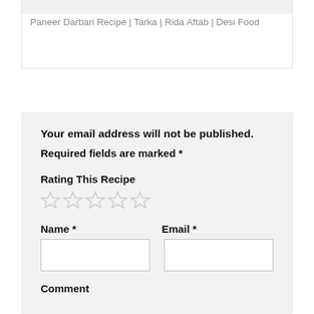Paneer Darbari Recipe | Tarka | Rida Aftab | Desi Food
Your email address will not be published.
Required fields are marked *
Rating This Recipe
[Figure (other): Five empty star rating icons]
Name *
Email *
Comment